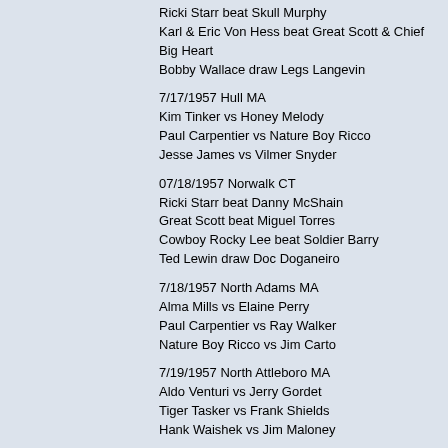Ricki Starr beat Skull Murphy
Karl & Eric Von Hess beat Great Scott & Chief Big Heart
Bobby Wallace draw Legs Langevin
7/17/1957 Hull MA
Kim Tinker vs Honey Melody
Paul Carpentier vs Nature Boy Ricco
Jesse James vs Vilmer Snyder
07/18/1957 Norwalk CT
Ricki Starr beat Danny McShain
Great Scott beat Miguel Torres
Cowboy Rocky Lee beat Soldier Barry
Ted Lewin draw Doc Doganeiro
7/18/1957 North Adams MA
Alma Mills vs Elaine Perry
Paul Carpentier vs Ray Walker
Nature Boy Ricco vs Jim Carto
7/19/1957 North Attleboro MA
Aldo Venturi vs Jerry Gordet
Tiger Tasker vs Frank Shields
Hank Waishek vs Jim Maloney
7/20/1957 Revere MA
Kim Tinker vs Alma Mills
Paul Carpentier vs Jesse James
7/23/1957 Stratford CT
Ricki Starr vs Jerry Graham
Skull Murphy vs Czaya Nandor
Angelo Savoldi vs Miguel Perez
Cowboy Rocky Lee vs Larry Hamilton
Arnold Skaaland vs Great Kato
7/24/1957 Hull MA